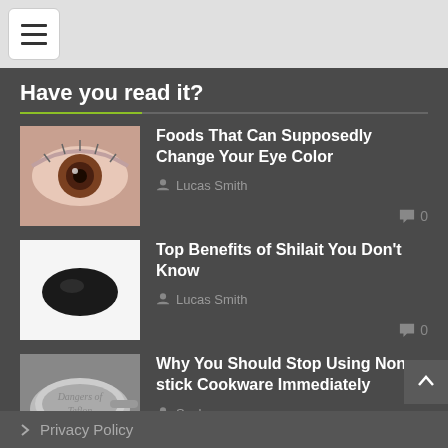Navigation menu button
Have you read it?
Foods That Can Supposedly Change Your Eye Color — Lucas Smith — 0 comments
Top Benefits of Shilait You Don't Know — Lucas Smith — 0 comments
Why You Should Stop Using Non-stick Cookware Immediately — Sasha — 0 comments
Information
Privacy Policy